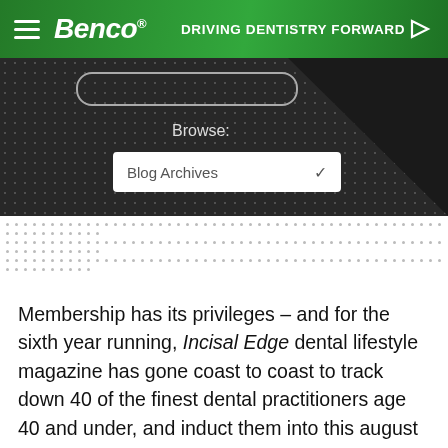Benco® — DRIVING DENTISTRY FORWARD
[Figure (screenshot): Dark dotted banner with a search bar outline and a Browse: Blog Archives dropdown selector]
Membership has its privileges – and for the sixth year running, Incisal Edge dental lifestyle magazine has gone coast to coast to track down 40 of the finest dental practitioners age 40 and under, and induct them into this august